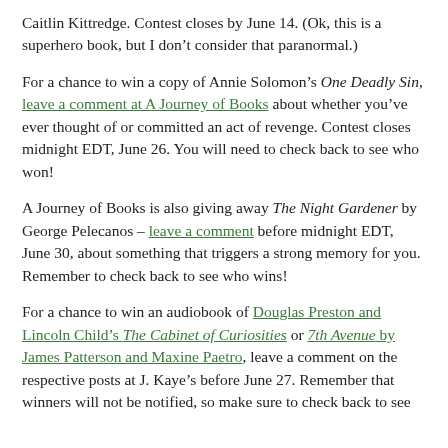Caitlin Kittredge. Contest closes by June 14. (Ok, this is a superhero book, but I don't consider that paranormal.)
For a chance to win a copy of Annie Solomon's One Deadly Sin, leave a comment at A Journey of Books about whether you've ever thought of or committed an act of revenge. Contest closes midnight EDT, June 26. You will need to check back to see who won!
A Journey of Books is also giving away The Night Gardener by George Pelecanos – leave a comment before midnight EDT, June 30, about something that triggers a strong memory for you. Remember to check back to see who wins!
For a chance to win an audiobook of Douglas Preston and Lincoln Child's The Cabinet of Curiosities or 7th Avenue by James Patterson and Maxine Paetro, leave a comment on the respective posts at J. Kaye's before June 27. Remember that winners will not be notified, so make sure to check back to see